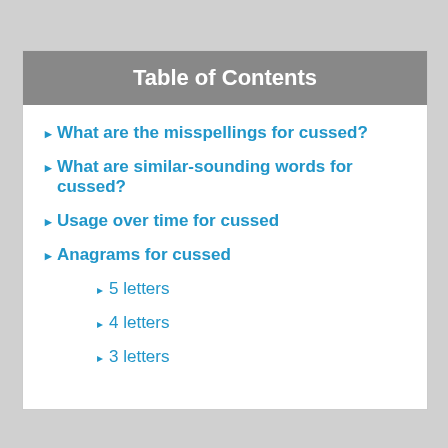Table of Contents
What are the misspellings for cussed?
What are similar-sounding words for cussed?
Usage over time for cussed
Anagrams for cussed
5 letters
4 letters
3 letters